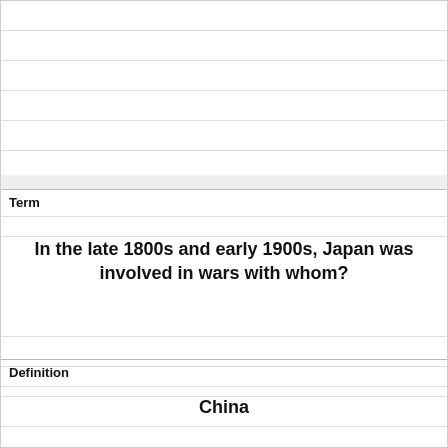Term
In the late 1800s and early 1900s, Japan was involved in wars with whom?
Definition
China